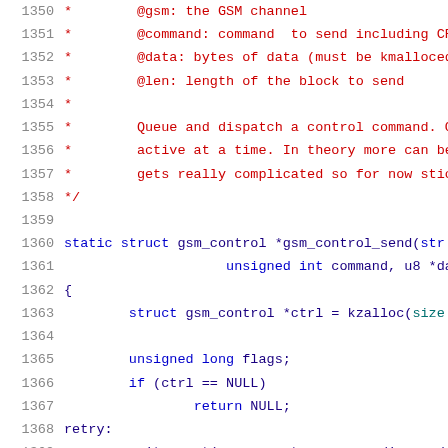Source code listing lines 1350-1371 showing C kernel code with comments and function definition for gsm_control_send